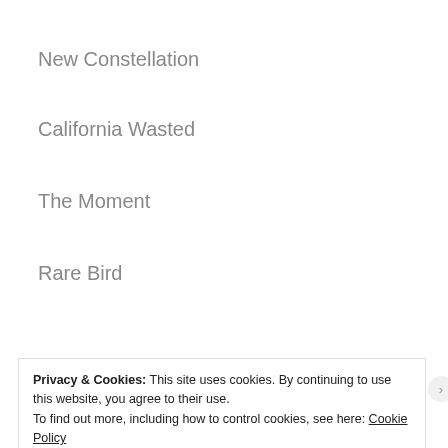New Constellation
California Wasted
The Moment
Rare Bird
[Figure (screenshot): Dark banner with a pink 'Start a survey' button on the left and a circular Crowdsignal logo on the right]
Privacy & Cookies: This site uses cookies. By continuing to use this website, you agree to their use.
To find out more, including how to control cookies, see here: Cookie Policy
Close and accept